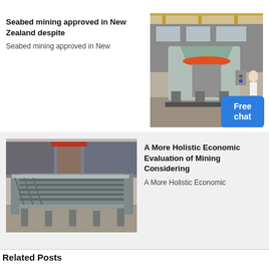Seabed mining approved in New Zealand despite
Seabed mining approved in New
[Figure (photo): Industrial cone crusher machine in a factory floor setting, light green/grey colored heavy equipment]
[Figure (photo): Mining conveyor feeder equipment, grey metal industrial trough with parallel bars, in an industrial yard]
A More Holistic Economic Evaluation of Mining Considering
A More Holistic Economic
Related Posts